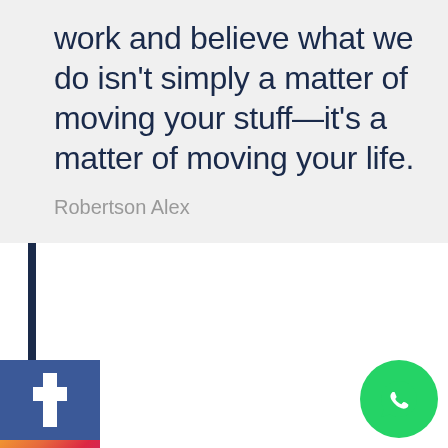work and believe what we do isn't simply a matter of moving your stuff—it's a matter of moving your life.
Robertson Alex
[Figure (other): Facebook, Instagram, and email social media sidebar buttons on the left side]
...king this the first true ...erator on the Internet. It uses a dictionary of over 200 Latin words, combined with a handful of model sentence structures, to generate Lorem Ipsum which looks
[Figure (other): WhatsApp floating action button in the bottom right corner]